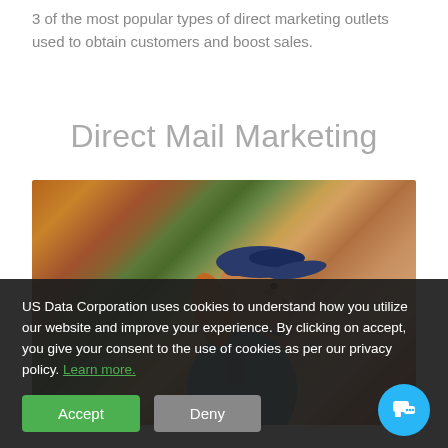3 of the most popular types of direct marketing outlets used to obtain customers and boost sales.
Direct Mail Marketing
[Figure (photo): A figurine of a mail carrier woman wearing a blue cap, viewed in profile, with a blurred warm-toned background.]
US Data Corporation uses cookies to understand how you utilize our website and improve your experience. By clicking on accept, you give your consent to the use of cookies as per our privacy policy. Learn more.